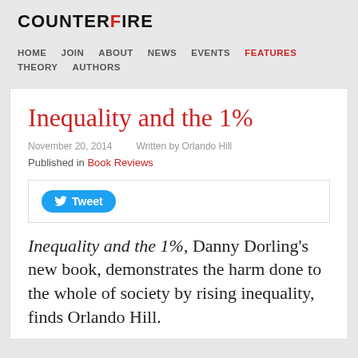COUNTERFIRE
HOME  JOIN  ABOUT  NEWS  EVENTS  FEATURES  THEORY  AUTHORS
Inequality and the 1%
November 20, 2014    Written by Orlando Hill
Published in Book Reviews
[Figure (other): Tweet button social sharing widget]
Inequality and the 1%, Danny Dorling's new book, demonstrates the harm done to the whole of society by rising inequality, finds Orlando Hill.